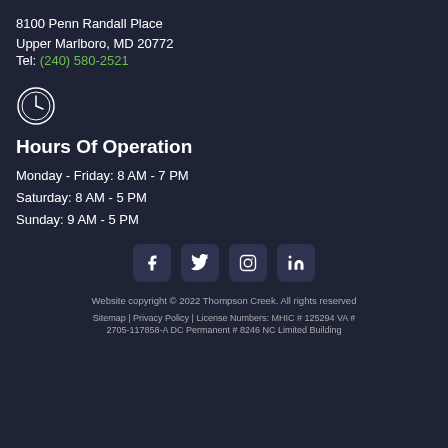8100 Penn Randall Place
Upper Marlboro, MD 20772
Tel: (240) 580-2521
[Figure (illustration): Clock/time icon in a circle, white outline]
Hours Of Operation
Monday - Friday: 8 AM - 7 PM
Saturday: 8 AM - 5 PM
Sunday: 9 AM - 5 PM
[Figure (illustration): Social media icons row: Facebook, Twitter, Instagram, LinkedIn]
Website copyright © 2022 Thompson Creek. All rights reserved
Sitemap | Privacy Policy | License Numbers: MHIC # 125294 VA # 2705-117858-A DC Permanent # 8246 NC Limited Building